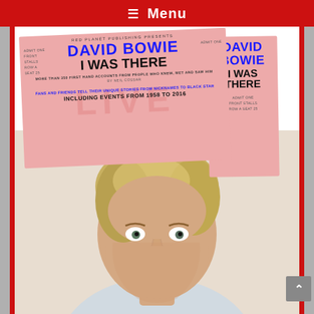≡ Menu
[Figure (illustration): Book cover for 'David Bowie: I Was There' by Neil Cossar, published by Red Planet Publishing. The cover shows a concert ticket design in pink/salmon color with 'DAVID BOWIE I WAS THERE' in large blue and black text, with subtitle text reading 'MORE THAN 350 FIRST HAND ACCOUNTS FROM PEOPLE WHO KNEW, MET AND SAW HIM BY NEIL COSSAR', 'FANS AND FRIENDS TELL THEIR UNIQUE STORIES FROM NICKNAMES TO BLACK STAR INCLUDING EVENTS FROM 1958 TO 2016'. A duplicate ticket stub appears on the right side. The lower portion shows a photo of David Bowie looking directly at the camera with styled blond-brown hair.]